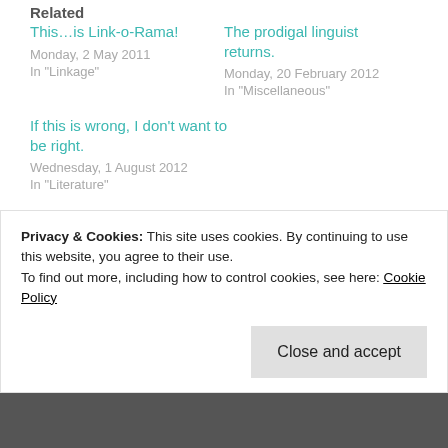Related
This...is Link-o-Rama!
Monday, 2 May 2011
In "Linkage"
The prodigal linguist returns.
Monday, 20 February 2012
In "Miscellaneous"
If this is wrong, I don't want to be right.
Wednesday, 1 August 2012
In "Literature"
perspective  proofreading  spelling mistakes  stationary  stationery  teasing
Privacy & Cookies: This site uses cookies. By continuing to use this website, you agree to their use. To find out more, including how to control cookies, see here: Cookie Policy
Close and accept